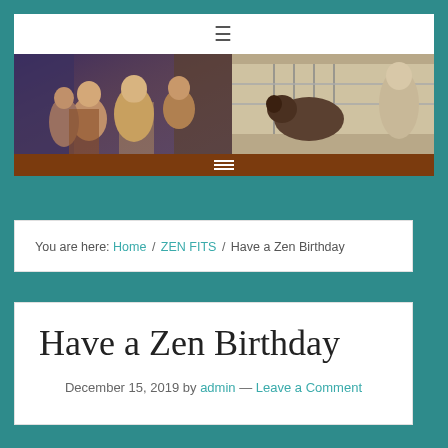≡
[Figure (illustration): Website banner with two images: left side shows a classical painting with figures in Renaissance style, right side shows an old illustration with animals and a woman near a fence. Brown menu bar below with hamburger icon.]
You are here: Home / ZEN FITS / Have a Zen Birthday
Have a Zen Birthday
December 15, 2019 by admin — Leave a Comment